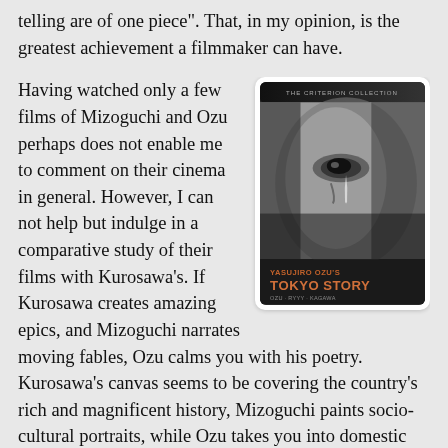telling are of one piece". That, in my opinion, is the greatest achievement a filmmaker can have.
[Figure (photo): DVD cover of Yasujiro Ozu's Tokyo Story from The Criterion Collection, showing a black and white close-up of a woman's face with a tear, with orange text reading 'YASUJIRO OZU'S TOKYO STORY' and additional small text below.]
Having watched only a few films of Mizoguchi and Ozu perhaps does not enable me to comment on their cinema in general. However, I can not help but indulge in a comparative study of their films with Kurosawa's. If Kurosawa creates amazing epics, and Mizoguchi narrates moving fables, Ozu calms you with his poetry. Kurosawa's canvas seems to be covering the country's rich and magnificent history, Mizoguchi paints socio-cultural portraits, while Ozu takes you into domestic lives of simple people, into their families. They thus address issues accordingly. Kurosawa is a man's filmmaker, displaying valour and vengeance, but he can not match the sensitivity of Mizoguchi who can definitely be considered a woman's filmmaker, and of Ozu, who cares more about the extremes of age – the kids and the old.